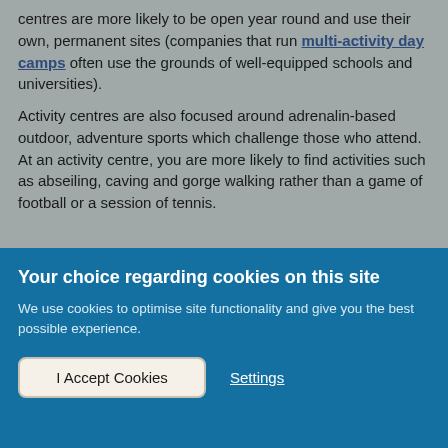centres are more likely to be open year round and use their own, permanent sites (companies that run multi-activity day camps often use the grounds of well-equipped schools and universities).
Activity centres are also focused around adrenalin-based outdoor, adventure sports which challenge those who attend. At an activity centre, you are more likely to find activities such as abseiling, caving and gorge walking rather than a game of football or a session of tennis.
Your choice regarding cookies on this site
We use cookies to optimise site functionality and give you the best possible experience.
I Accept Cookies
Settings